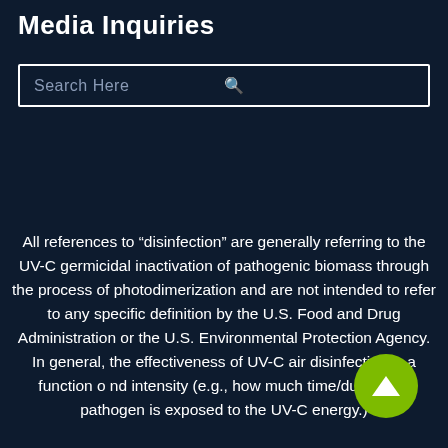Media Inquiries
[Figure (other): Search bar with placeholder text 'Search Here' and a magnifying glass icon on a dark navy background]
All references to “disinfection” are generally referring to the UV-C germicidal inactivation of pathogenic biomass through the process of photodimerization and are not intended to refer to any specific definition by the U.S. Food and Drug Administration or the U.S. Environmental Protection Agency. In general, the effectiveness of UV-C air disinfection is a function of and intensity (e.g., how much time/duration a pathogen is exposed to the UV-C energy.)